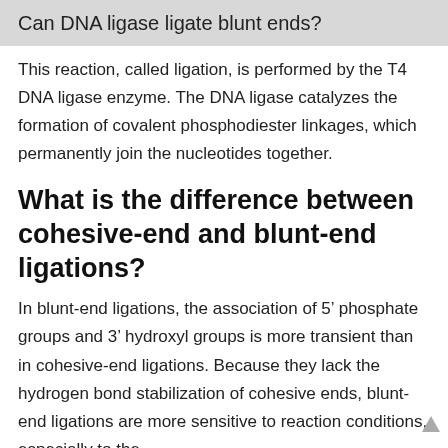Can DNA ligase ligate blunt ends?
This reaction, called ligation, is performed by the T4 DNA ligase enzyme. The DNA ligase catalyzes the formation of covalent phosphodiester linkages, which permanently join the nucleotides together.
What is the difference between cohesive-end and blunt-end ligations?
In blunt-end ligations, the association of 5’ phosphate groups and 3’ hydroxyl groups is more transient than in cohesive-end ligations. Because they lack the hydrogen bond stabilization of cohesive ends, blunt-end ligations are more sensitive to reaction conditions, especially to the